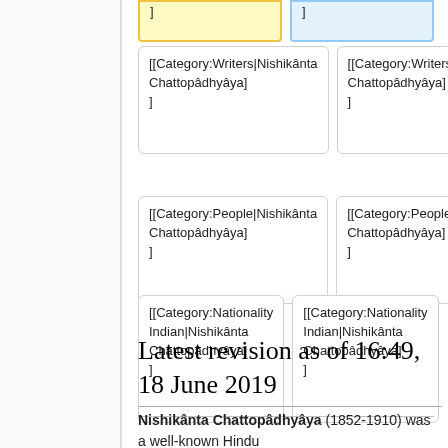]
]
[[Category:Writers|Nishikânta Chattopâdhyâya]
]
[[Category:Writers|Nishikânta Chattopâdhyâya]
]
[[Category:People|Nishikânta Chattopâdhyâya]
]
[[Category:People|Nishikânta Chattopâdhyâya]
]
[[Category:Nationality Indian|Nishikânta Chattopâdhyâya]
]
[[Category:Nationality Indian|Nishikânta Chattopâdhyâya]
]
Latest revision as of 16:49, 18 June 2019
Nishikânta Chattopâdhyâya (1852-1910) was a well-known Hindu